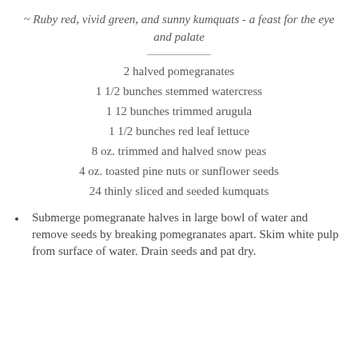~ Ruby red, vivid green, and sunny kumquats - a feast for the eye and palate
2 halved pomegranates
1 1/2 bunches stemmed watercress
1 12 bunches trimmed arugula
1 1/2 bunches red leaf lettuce
8 oz. trimmed and halved snow peas
4 oz. toasted pine nuts or sunflower seeds
24 thinly sliced and seeded kumquats
Submerge pomegranate halves in large bowl of water and remove seeds by breaking pomegranates apart. Skim white pulp from surface of water. Drain seeds and pat dry.